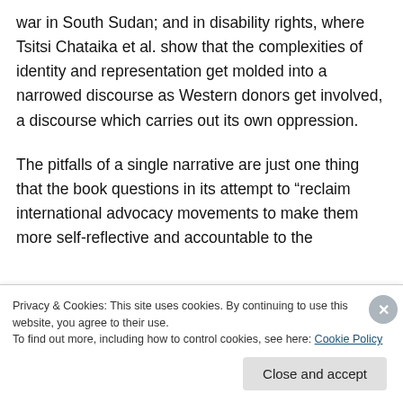war in South Sudan; and in disability rights, where Tsitsi Chataika et al. show that the complexities of identity and representation get molded into a narrowed discourse as Western donors get involved, a discourse which carries out its own oppression.
The pitfalls of a single narrative are just one thing that the book questions in its attempt to “reclaim international advocacy movements to make them more self-reflective and accountable to the
Privacy & Cookies: This site uses cookies. By continuing to use this website, you agree to their use.
To find out more, including how to control cookies, see here: Cookie Policy